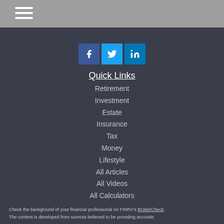[Figure (infographic): Navigation hamburger menu icon — three white horizontal lines on grey background header bar]
[Figure (infographic): Social media icons: Facebook (dark blue), Twitter (light blue), LinkedIn (blue)]
Quick Links
Retirement
Investment
Estate
Insurance
Tax
Money
Lifestyle
All Articles
All Videos
All Calculators
All Presentations
Check the background of your financial professional on FINRA's BrokerCheck.
The content is developed from sources believed to be providing accurate